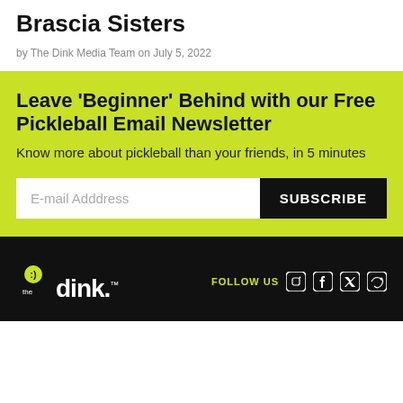Brascia Sisters
by The Dink Media Team on July 5, 2022
Leave 'Beginner' Behind with our Free Pickleball Email Newsletter
Know more about pickleball than your friends, in 5 minutes
E-mail Adddress
SUBSCRIBE
the dink. FOLLOW US [Instagram] [Facebook] [Twitter] [RSS]